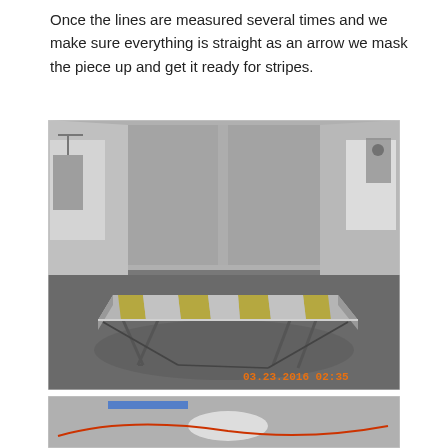Once the lines are measured several times and we make sure everything is straight as an arrow we mask the piece up and get it ready for stripes.
[Figure (photo): A car roof panel or hood laid flat on sawhorses in a paint booth, masked with yellow/olive green tape along straight stripe lines. The panel is silver/grey. Date stamp reads 03.23.2016 02:35. The paint booth has grey walls and a grey epoxy floor.]
[Figure (photo): Partial close-up view of a silver painted surface with a blue tape edge, showing part of the masking and a bright reflection, likely the same panel from a different angle.]